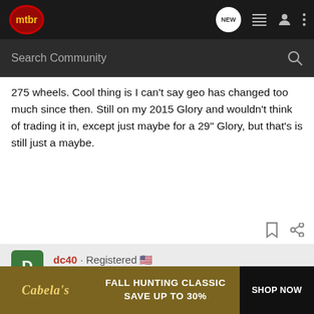mtbr — NEW | menu | profile | more
Search Community
275 wheels. Cool thing is I can't say geo has changed too much since then. Still on my 2015 Glory and wouldn't think of trading it in, except just maybe for a 29" Glory, but that's is still just a maybe.
dc40 · Registered
Joined Oct 3, 2013 · 283 Posts
#8 · Jul 24, 2019
If you go... e. Your the slas... DH bi...
[Figure (screenshot): Cabela's Fall Hunting Classic advertisement banner: 'FALL HUNTING CLASSIC SAVE UP TO 30%' with SHOP NOW button]